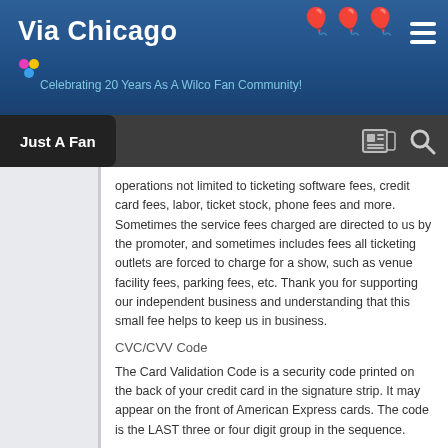Via Chicago — Celebrating 20 Years As A Wilco Fan Community!
Just A Fan
operations not limited to ticketing software fees, credit card fees, labor, ticket stock, phone fees and more. Sometimes the service fees charged are directed to us by the promoter, and sometimes includes fees all ticketing outlets are forced to charge for a show, such as venue facility fees, parking fees, etc. Thank you for supporting our independent business and understanding that this small fee helps to keep us in business.
CVC/CVV Code
The Card Validation Code is a security code printed on the back of your credit card in the signature strip. It may appear on the front of American Express cards. The code is the LAST three or four digit group in the sequence.